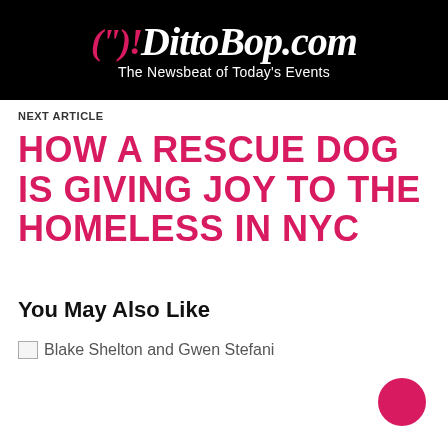DittoBop.com — The Newsbeat of Today's Events
NEXT ARTICLE
HOW A RESCUE DOG IS GIVING JOY TO THE HOMELESS IN NYC
You May Also Like
[Figure (illustration): Broken image placeholder followed by link text: Blake Shelton and Gwen Stefani]
[Figure (other): Hot pink circular FAB button in bottom right corner]